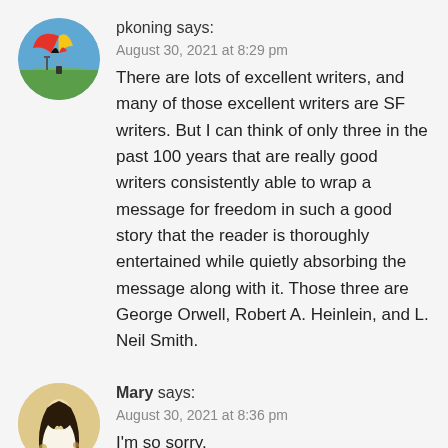pkoning says:
August 30, 2021 at 8:29 pm
There are lots of excellent writers, and many of those excellent writers are SF writers. But I can think of only three in the past 100 years that are really good writers consistently able to wrap a message for freedom in such a good story that the reader is thoroughly entertained while quietly absorbing the message along with it. Those three are George Orwell, Robert A. Heinlein, and L. Neil Smith.
Mary says:
August 30, 2021 at 8:36 pm
I'm so sorry.